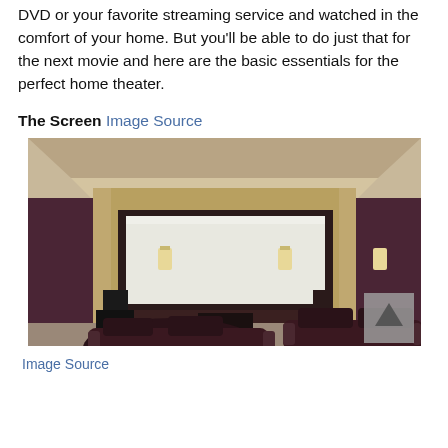DVD or your favorite streaming service and watched in the comfort of your home. But you'll be able to do just that for the next movie and here are the basic essentials for the perfect home theater.
The Screen Image Source
[Figure (photo): Interior of a luxury home theater room with a large projection screen on the wall, dark wood paneling, wall sconces, and dark leather recliner seats in the foreground.]
Image Source